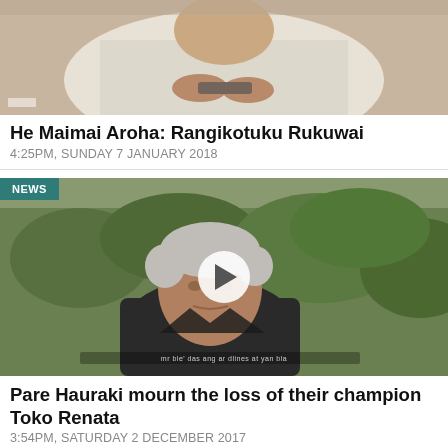[Figure (photo): Cropped top portion of a person in white clothing, partially visible from mid-torso up, hands holding something]
He Maimai Aroha: Rangikotuku Rukuwai
4:25PM, SUNDAY 7 JANUARY 2018
[Figure (photo): NEWS badge overlay. Video thumbnail of an elderly Maori man with grey hair wearing a dark jacket, standing outdoors with green hedge behind him. Play button overlay in center. Subtitle text visible at bottom.]
Pare Hauraki mourn the loss of their champion Toko Renata
3:54PM, SATURDAY 2 DECEMBER 2017